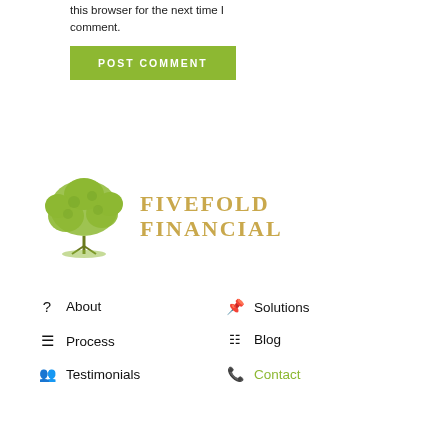this browser for the next time I comment.
POST COMMENT
[Figure (logo): Fivefold Financial logo with green tree illustration and gold serif text reading FIVEFOLD FINANCIAL]
About
Solutions
Process
Blog
Testimonials
Contact